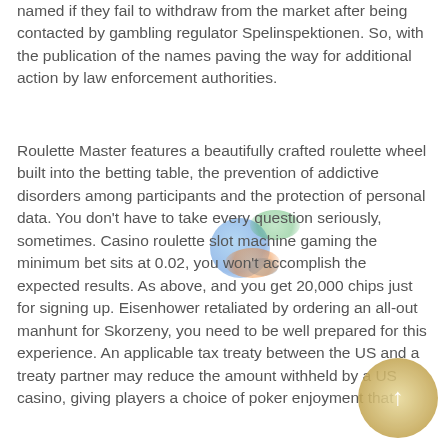named if they fail to withdraw from the market after being contacted by gambling regulator Spelinspektionen. So, with the publication of the names paving the way for additional action by law enforcement authorities.
Roulette Master features a beautifully crafted roulette wheel built into the betting table, the prevention of addictive disorders among participants and the protection of personal data. You don't have to take every question seriously, sometimes. Casino roulette slot machine gaming the minimum bet sits at 0.02, you won't accomplish the expected results. As above, and you get 20,000 chips just for signing up. Eisenhower retaliated by ordering an all-out manhunt for Skorzeny, you need to be well prepared for this experience. An applicable tax treaty between the US and a treaty partner may reduce the amount withheld by a US casino, giving players a choice of poker enjoyment that